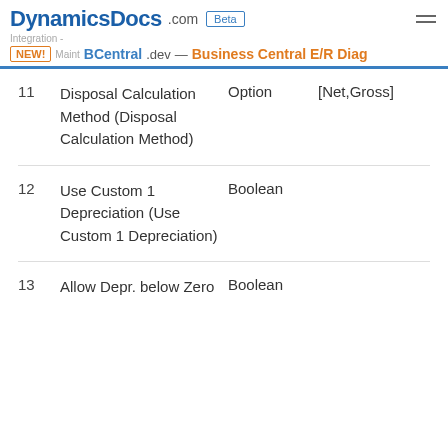DynamicsDocs.com Beta — NEW! BCentral.dev — Business Central E/R Diag
| No. | Name | Type | Extra |
| --- | --- | --- | --- |
| 11 | Disposal Calculation Method (Disposal Calculation Method) | Option | [Net,Gross] |
| 12 | Use Custom 1 Depreciation (Use Custom 1 Depreciation) | Boolean |  |
| 13 | Allow Depr. below Zero | Boolean |  |